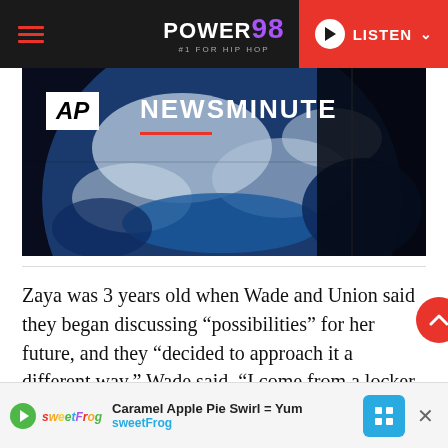POWER 98 #1 FOR HIP HOP — LISTEN
[Figure (screenshot): AP Newsminute video thumbnail showing Earth from space with AP logo and NEWSMINUTE text]
Zaya was 3 years old when Wade and Union said they began discussing “possibilities” for her future, and they “decided to approach it a different way,” Wade said. “I come from a locker room of a macho, male-dominant sport.
Caramel Apple Pie Swirl = Yum sweetFrog